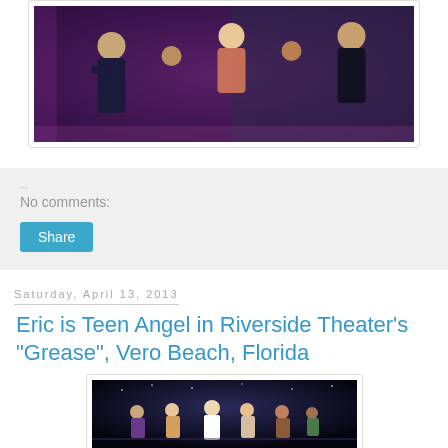[Figure (photo): Theater performance photo showing dancers on stage with purple/pink lighting and brick wall backdrop]
No comments:
Share
Saturday, April 13, 2013
Eric is Teen Angel in Riverside Theater's "Grease", Vero Beach, Florida
[Figure (photo): Theater performance photo of Grease production showing performers on stage with dark starry backdrop]